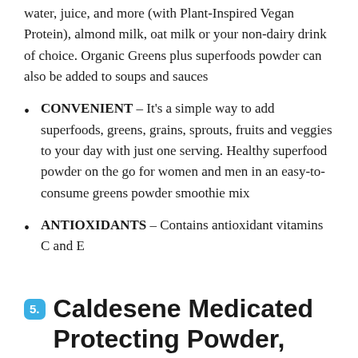water, juice, and more (with Plant-Inspired Vegan Protein), almond milk, oat milk or your non-dairy drink of choice. Organic Greens plus superfoods powder can also be added to soups and sauces
CONVENIENT – It's a simple way to add superfoods, greens, grains, sprouts, fruits and veggies to your day with just one serving. Healthy superfood powder on the go for women and men in an easy-to-consume greens powder smoothie mix
ANTIOXIDANTS – Contains antioxidant vitamins C and E
5. Caldesene Medicated Protecting Powder, Cornstarch & Zinc Oxide, Talc Free, 5oz